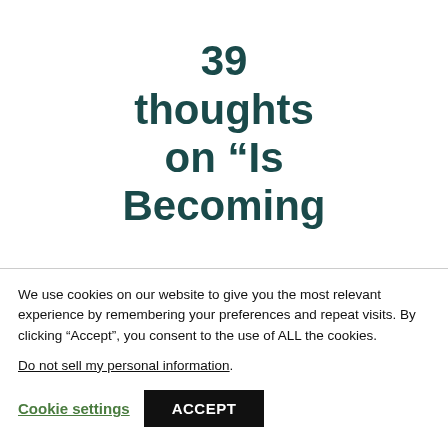39 thoughts on “Is Becoming
We use cookies on our website to give you the most relevant experience by remembering your preferences and repeat visits. By clicking “Accept”, you consent to the use of ALL the cookies.
Do not sell my personal information.
Cookie settings  ACCEPT